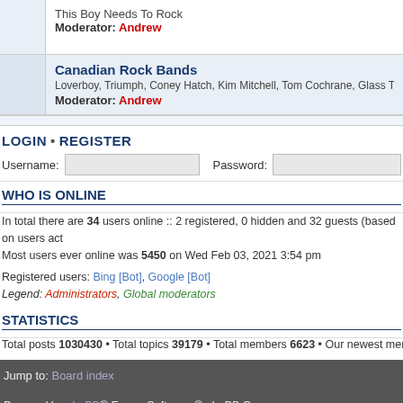This Boy Needs To Rock
Moderator: Andrew
Canadian Rock Bands
Loverboy, Triumph, Coney Hatch, Kim Mitchell, Tom Cochrane, Glass Tiger...the
Moderator: Andrew
LOGIN • REGISTER
Username:  Password:
WHO IS ONLINE
In total there are 34 users online :: 2 registered, 0 hidden and 32 guests (based on users act
Most users ever online was 5450 on Wed Feb 03, 2021 3:54 pm
Registered users: Bing [Bot], Google [Bot]
Legend: Administrators, Global moderators
STATISTICS
Total posts 1030430 • Total topics 39179 • Total members 6623 • Our newest member Klas
Jump to: Board index
Powered by phpBB® Forum Software © phpBB Group.
Style we_clearblue created by weeb.